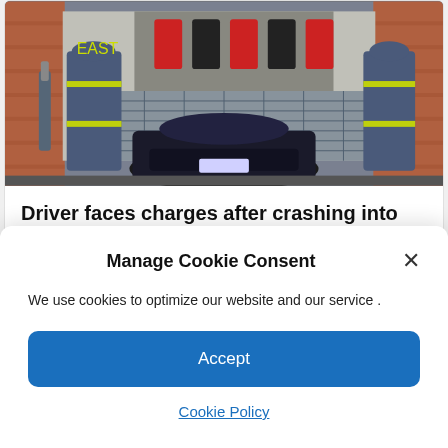[Figure (photo): Two firefighters in blue uniforms with yellow reflective stripes standing in front of a store, with a dark car crashed into it. Clothing hanging on racks visible in the background. Brick wall visible.]
Driver faces charges after crashing into pro-Trump store
Dicasblogger Admin   June 17, 2022
Manage Cookie Consent
We use cookies to optimize our website and our service .
Accept
Cookie Policy